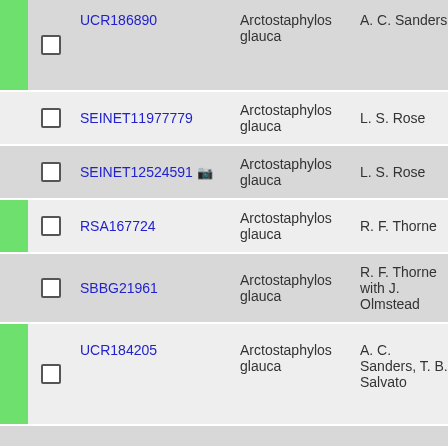|  |  | ID | Species | Collector | Date |  |
| --- | --- | --- | --- | --- | --- | --- |
|  |  | UCR186890 | Arctostaphylos glauca | A. C. Sanders | 2006-4-14 | 32… |
|  |  | SEINET11977779 | Arctostaphylos glauca | L. S. Rose | 1932-1 | 32… |
|  |  | SEINET12524591 [cam] | Arctostaphylos glauca | L. S. Rose | 1932-1 | 32… |
|  |  | RSA167724 | Arctostaphylos glauca | R. F. Thorne | 1963-7-26 | 32… |
|  |  | SBBG21961 | Arctostaphylos glauca | R. F. Thorne with J. Olmstead | 1963-7-26 | 32… |
|  |  | UCR184205 | Arctostaphylos glauca | A. C. Sanders, T. B. Salvato | 2007-4-24 | 33… |